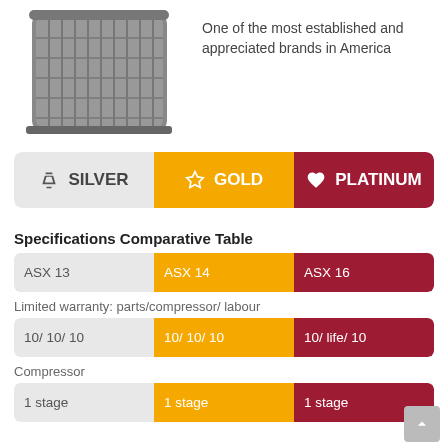[Figure (photo): HVAC air conditioner unit product photo, gray colored]
One of the most established and appreciated brands in America
| SILVER | GOLD | PLATINUM |
| --- | --- | --- |
Specifications Comparative Table
| ASX 13 | ASX 14 | ASX 16 |
| --- | --- | --- |
| 10/ 10/ 10 | 10/ 10/ 10 | 10/ life/ 10 |
| 1 stage | 1 stage | 1 stage |
Limited warranty: parts/compressor/ labour
Compressor